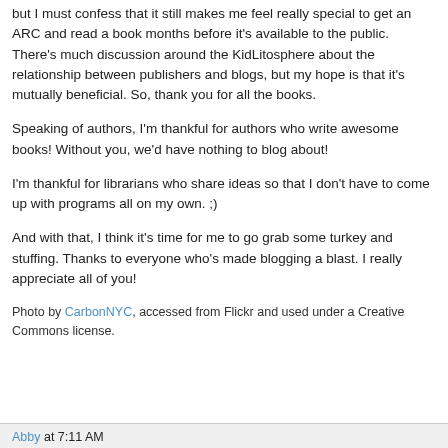but I must confess that it still makes me feel really special to get an ARC and read a book months before it's available to the public. There's much discussion around the KidLitosphere about the relationship between publishers and blogs, but my hope is that it's mutually beneficial. So, thank you for all the books.
Speaking of authors, I'm thankful for authors who write awesome books! Without you, we'd have nothing to blog about!
I'm thankful for librarians who share ideas so that I don't have to come up with programs all on my own. ;)
And with that, I think it's time for me to go grab some turkey and stuffing. Thanks to everyone who's made blogging a blast. I really appreciate all of you!
Photo by CarbonNYC, accessed from Flickr and used under a Creative Commons license.
Abby at 7:11 AM